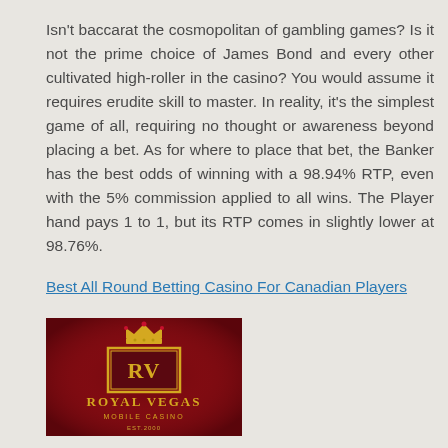Isn't baccarat the cosmopolitan of gambling games? Is it not the prime choice of James Bond and every other cultivated high-roller in the casino? You would assume it requires erudite skill to master. In reality, it's the simplest game of all, requiring no thought or awareness beyond placing a bet. As for where to place that bet, the Banker has the best odds of winning with a 98.94% RTP, even with the 5% commission applied to all wins. The Player hand pays 1 to 1, but its RTP comes in slightly lower at 98.76%.
Best All Round Betting Casino For Canadian Players
[Figure (logo): Royal Vegas Mobile Casino Est 2000 logo — dark red/maroon background with gold crown, RV monogram in gold bordered rectangle, text 'ROYAL VEGAS' in gold and 'MOBILE CASINO' and 'EST.2000' in smaller gold text below.]